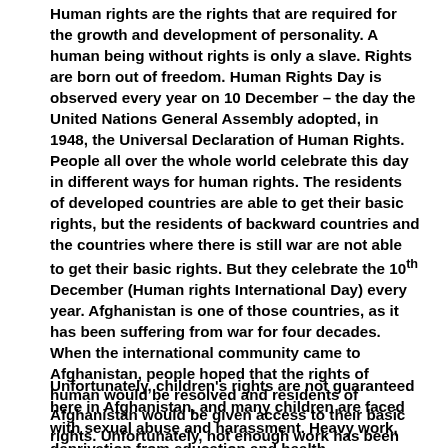Human rights are the rights that are required for the growth and development of personality. A human being without rights is only a slave. Rights are born out of freedom. Human Rights Day is observed every year on 10 December – the day the United Nations General Assembly adopted, in 1948, the Universal Declaration of Human Rights. People all over the whole world celebrate this day in different ways for human rights. The residents of developed countries are able to get their basic rights, but the residents of backward countries and the countries where there is still war are not able to get their basic rights. But they celebrate the 10th December (Human rights International Day) every year. Afghanistan is one of those countries, as it has been suffering from war for four decades. When the international community came to Afghanistan, people hoped that the rights of human would be resolved and residents of Afghanistan would be given access to their basic rights. Unfortunately, not enough work has been done in this area.
Unfortunately, children's rights are not guaranteed here in Afghanistan, and many children are faced with sexual abuse and harassment. Heavy work, deprivation from education and health